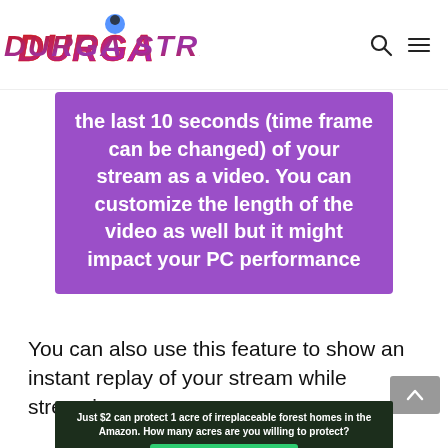Durga Streamer — navigation logo with search and menu icons
the last 10 seconds (time frame can be changed) of your stream as a video. You can customize the length of the video as well but it might impact your PC performance
You can also use this feature to show an instant replay of your stream while streaming.
[Figure (other): Advertisement banner: 'Just $2 can protect 1 acre of irreplaceable forest homes in the Amazon. How many acres are you willing to protect?' with a green PROTECT FORESTS NOW button, on a dark forest background.]